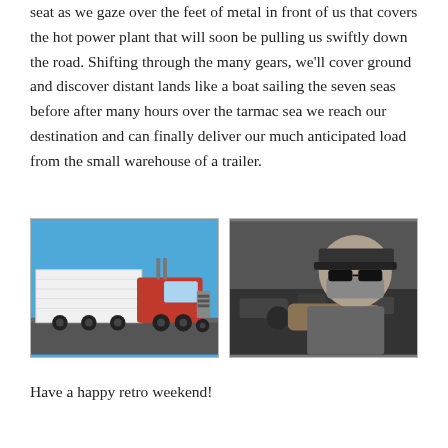seat as we gaze over the feet of metal in front of us that covers the hot power plant that will soon be pulling us swiftly down the road. Shifting through the many gears, we'll cover ground and discover distant lands like a boat sailing the seven seas before after many hours over the tarmac sea we reach our destination and can finally deliver our much anticipated load from the small warehouse of a trailer.
[Figure (photo): A red semi-truck with a white trailer driving on a road under a blue sky]
[Figure (photo): A bearded man wearing a cap and sunglasses and yellow gloves leaning over a truck engine, black and white photo]
Have a happy retro weekend!